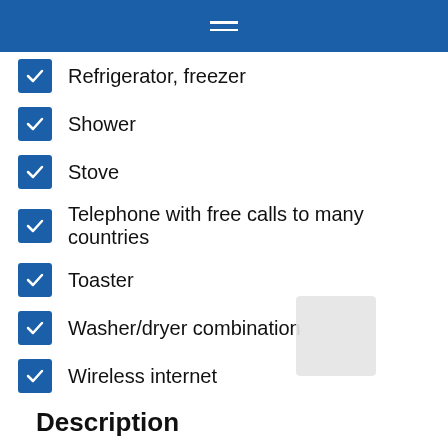Refrigerator, freezer
Shower
Stove
Telephone with free calls to many countries
Toaster
Washer/dryer combination
Wireless internet
Description